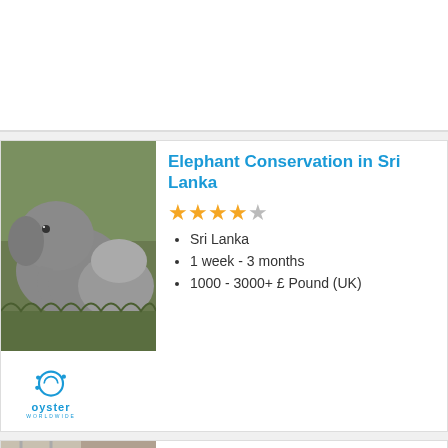[Figure (photo): Elephant Conservation in Sri Lanka listing card with elephant photo and Oyster Worldwide logo]
Elephant Conservation in Sri Lanka
★★★★☆
Sri Lanka
1 week - 3 months
1000 - 3000+ £ Pound (UK)
[Figure (photo): Support a Cat and Dog Shelter Costa Rica listing card with person photo and JAMSO Trainee banner]
Support a Cat and Dog Shelter Costa Rica
Puntarenas
4 weeks - 6 months
250 - 3000+ $ Dollars (US)